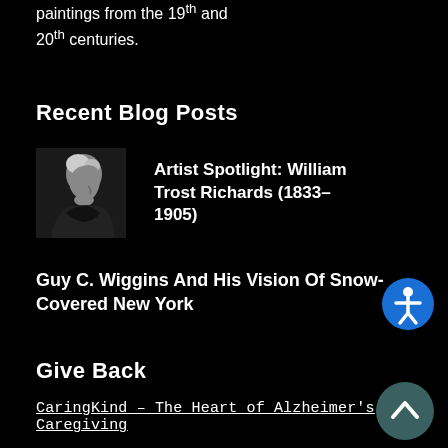paintings from the 19th and 20th centuries.
Recent Blog Posts
[Figure (photo): Black and white portrait photo of an elderly man in profile view, white hair, dark clothing.]
Artist Spotlight: William Trost Richards (1833–1905)
Guy C. Wiggins And His Vision Of Snow-Covered New York
Give Back
CaringKind – The Heart of Alzheimer's Caregiving